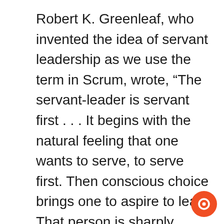Robert K. Greenleaf, who invented the idea of servant leadership as we use the term in Scrum, wrote, “The servant-leader is servant first . . . It begins with the natural feeling that one wants to serve, to serve first. Then conscious choice brings one to aspire to lead. That person is sharply different from one who is leader first; perhaps because of the need to assuage an unusual power drive or to acquire material possessions . . . The leader-first and the servant-first are two extreme types. Between them there